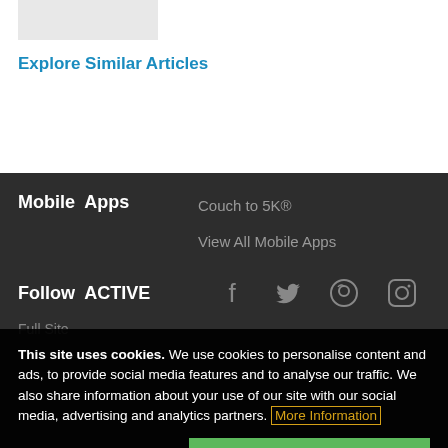[Figure (other): Gray image placeholder rectangle at top left]
Explore Similar Articles
Mobile Apps
Couch to 5K®
View All Mobile Apps
Follow ACTIVE
[Figure (other): Social media icons: Facebook, Twitter, Pinterest, Instagram]
Full Site
This site uses cookies. We use cookies to personalise content and ads, to provide social media features and to analyse our traffic. We also share information about your use of our site with our social media, advertising and analytics partners. More Information
Cookie Settings
✓ Accept Cookies